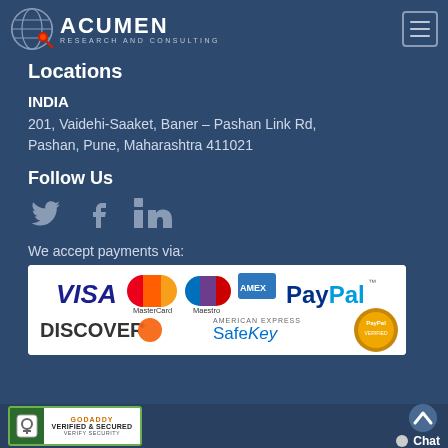[Figure (logo): Acumen Research and Consulting logo with globe icon]
Locations
INDIA
201, Vaidehi-Saaket, Baner - Pashan Link Rd, Pashan, Pune, Maharashtra 411021
Follow Us
[Figure (illustration): Social media icons: Twitter, Facebook, LinkedIn]
We accept payments via:
[Figure (illustration): Payment methods banner: VISA, MasterCard, Maestro, American Express, PayPal, Discover, American Express SafeKey, PayPal Verified]
[Figure (illustration): GoDaddy Verified & Secured badge]
Chat